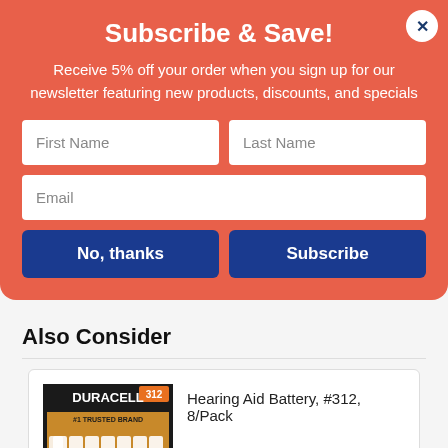Subscribe & Save!
Receive 5% off your order when you sign up for our newsletter featuring new products, discounts, and specials
Also Consider
Hearing Aid Battery, #312, 8/Pack
ITEM ID: DURDA312B8ZM09